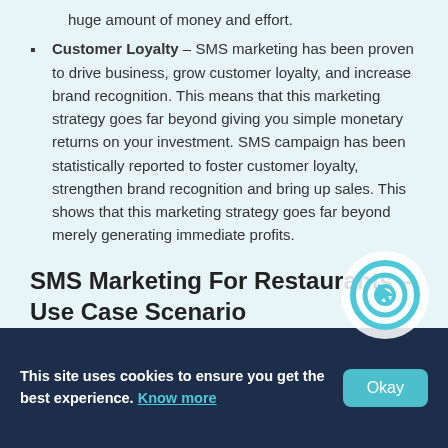huge amount of money and effort.
Customer Loyalty – SMS marketing has been proven to drive business, grow customer loyalty, and increase brand recognition. This means that this marketing strategy goes far beyond giving you simple monetary returns on your investment. SMS campaign has been statistically reported to foster customer loyalty, strengthen brand recognition and bring up sales. This shows that this marketing strategy goes far beyond merely generating immediate profits.
SMS Marketing For Restaurants – Use Case Scenario
A popular Indian restaurant which caters to m
This site uses cookies to ensure you get the best experience. Know more